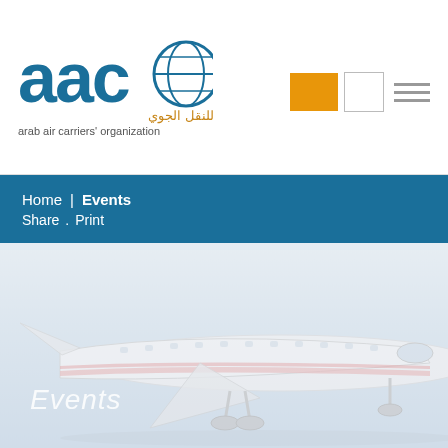[Figure (logo): AACO - Arab Air Carriers Organization logo with globe icon]
Home  Events
Share . Print
[Figure (photo): Faded background photo of a commercial airplane (white with red stripe livery) on the ground, with Events text overlay]
Events